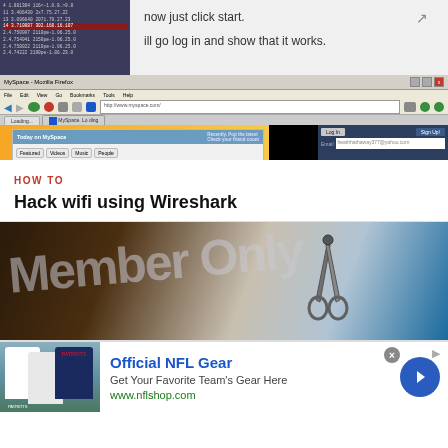[Figure (screenshot): Screenshot of a network analysis tool (likely Wireshark) on the left panel showing packet data rows, and on the right panel instructions saying 'now just click start.' and 'ill go log in and show that it works.' Below is a Mozilla Firefox browser window open to MySpace homepage with navigation bar, MySpace logo area, and a login box.]
HOW TO
Hack wifi using Wireshark
[Figure (photo): Close-up photo of a 'Member Only' card or label with scissors cutting through it, against a dark brown background with blue accent.]
[Figure (screenshot): Advertisement banner for Official NFL Gear showing NFL jerseys and Patriots logo on the left, text 'Official NFL Gear', 'Get Your Favorite Team's Gear Here', 'www.nflshop.com', and a blue circular arrow button on the right.]